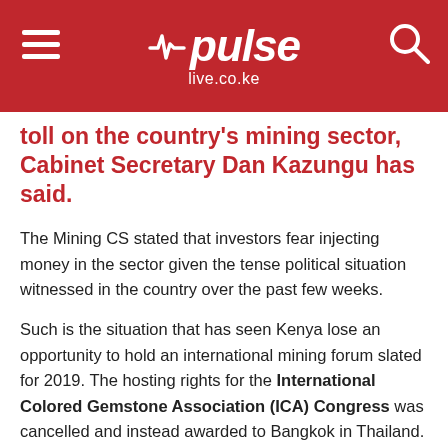pulse live.co.ke
toll on the country's mining sector, Cabinet Secretary Dan Kazungu has said.
The Mining CS stated that investors fear injecting money in the sector given the tense political situation witnessed in the country over the past few weeks.
Such is the situation that has seen Kenya lose an opportunity to hold an international mining forum slated for 2019. The hosting rights for the International Colored Gemstone Association (ICA) Congress was cancelled and instead awarded to Bangkok in Thailand.